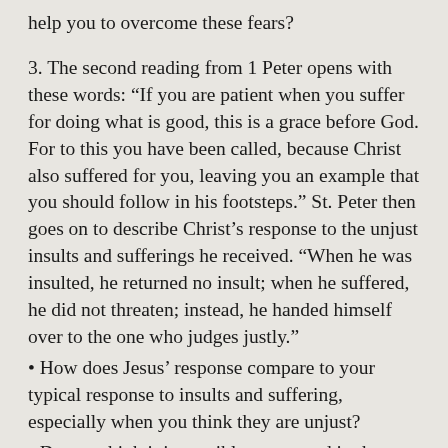help you to overcome these fears?
3. The second reading from 1 Peter opens with these words: “If you are patient when you suffer for doing what is good, this is a grace before God. For to this you have been called, because Christ also suffered for you, leaving you an example that you should follow in his footsteps.” St. Peter then goes on to describe Christ’s response to the unjust insults and sufferings he received. “When he was insulted, he returned no insult; when he suffered, he did not threaten; instead, he handed himself over to the one who judges justly.”
• How does Jesus’ response compare to your typical response to insults and suffering, especially when you think they are unjust?
• Do you think it is possible to respond in the way he did? What can be done?